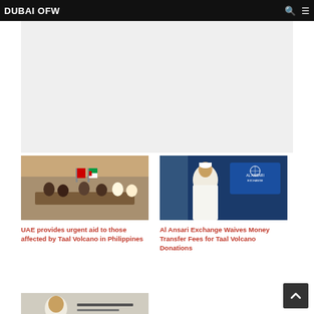DUBAI OFW
[Figure (photo): Meeting scene with UAE officials and Filipino delegation, UAE and Philippines flags visible]
[Figure (photo): Man in traditional UAE white kandura sitting at desk with Al Ansari Exchange logo banner behind him]
UAE provides urgent aid to those affected by Taal Volcano in Philippines
Al Ansari Exchange Waives Money Transfer Fees for Taal Volcano Donations
[Figure (photo): Partial photo of a person with Arabic text, appears to be a tweet/social media screenshot]